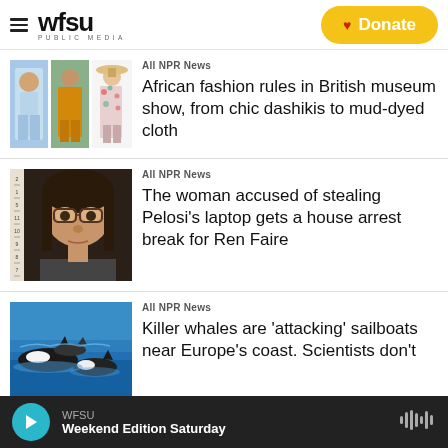WFSU PUBLIC MEDIA | Donate
[Figure (photo): Three people in African fashion outfits — light blue suit, yellow outfit, floral print]
All NPR News
African fashion rules in British museum show, from chic dashikis to mud-dyed cloth
[Figure (photo): Mugshot-style photo of a woman with glasses and long dark hair against a ruler background]
All NPR News
The woman accused of stealing Pelosi's laptop gets a house arrest break for Ren Faire
[Figure (photo): Group of killer whales in the ocean near a coast]
All NPR News
Killer whales are 'attacking' sailboats near Europe's coast. Scientists don't
WFSU | Weekend Edition Saturday